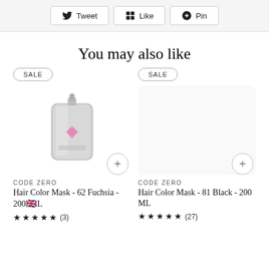[Figure (other): Social sharing buttons: Tweet, Like, Pin]
You may also like
[Figure (photo): Product image: Hair Color Mask 62 Fuchsia 200ML in silver pouch with pink diamond logo, SALE badge]
CODE ZERO
Hair Color Mask - 62 Fuchsia - 200ML
★ ★ ★ ★ ★ (3)
[Figure (other): Product placeholder image area for Hair Color Mask 81 Black 200ML, SALE badge]
CODE ZERO
Hair Color Mask - 81 Black - 200 ML
★ ★ ★ ★ ★ (27)